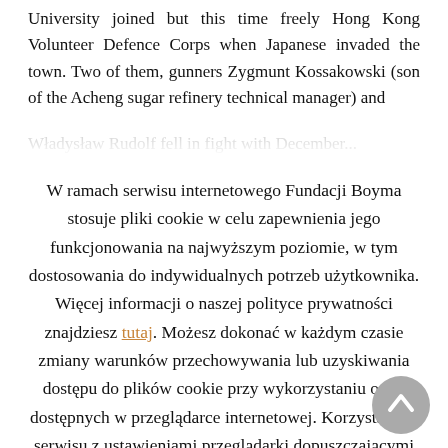University joined but this time freely Hong Kong Volunteer Defence Corps when Japanese invaded the town. Two of them, gunners Zygmunt Kossakowski (son of the Acheng sugar refinery technical manager) and Władysław Rudolf fell in fight with December...
W ramach serwisu internetowego Fundacji Boyma stosuje pliki cookie w celu zapewnienia jego funkcjonowania na najwyższym poziomie, w tym dostosowania do indywidualnych potrzeb użytkownika. Więcej informacji o naszej polityce prywatności znajdziesz tutaj. Możesz dokonać w każdym czasie zmiany warunków przechowywania lub uzyskiwania dostępu do plików cookie przy wykorzystaniu opcji dostępnych w przeglądarce internetowej. Korzystanie z serwisu z ustawieniami przeglądarki dopuszczającymi pozostawianie plików cookie oznacza, że zgadzasz się na ich pozostawianie w Twoim urządzeniu i uzyskiwanie dostępu do nich.
Accept